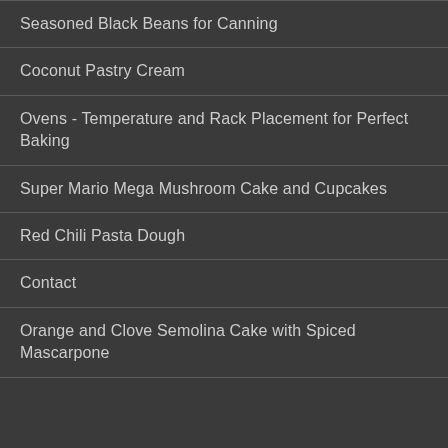Seasoned Black Beans for Canning
Coconut Pastry Cream
Ovens - Temperature and Rack Placement for Perfect Baking
Super Mario Mega Mushroom Cake and Cupcakes
Red Chili Pasta Dough
Contact
Orange and Clove Semolina Cake with Spiced Mascarpone